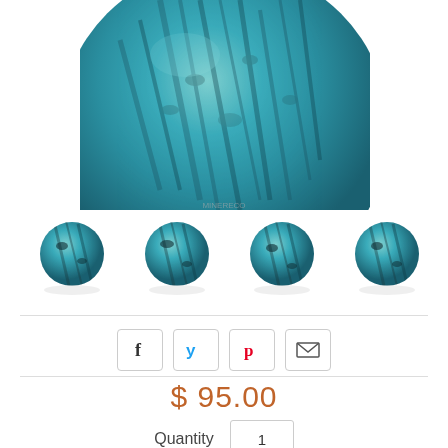[Figure (photo): Large teal/blue apatite crystal sphere on a clear acrylic stand, showing the top portion of the sphere with visible crystal formations]
[Figure (photo): Four thumbnail images of the same teal blue apatite crystal sphere shown from different angles]
[Figure (infographic): Social sharing buttons row: Facebook (f), Twitter (bird), Pinterest (p), Email (envelope)]
$ 95.00
Quantity  1